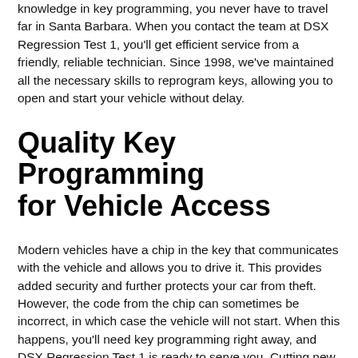knowledge in key programming, you never have to travel far in Santa Barbara. When you contact the team at DSX Regression Test 1, you'll get efficient service from a friendly, reliable technician. Since 1998, we've maintained all the necessary skills to reprogram keys, allowing you to open and start your vehicle without delay.
Quality Key Programming for Vehicle Access
Modern vehicles have a chip in the key that communicates with the vehicle and allows you to drive it. This provides added security and further protects your car from theft. However, the code from the chip can sometimes be incorrect, in which case the vehicle will not start. When this happens, you'll need key programming right away, and DSX Regression Test 1 is ready to serve you. Cutting new keys is